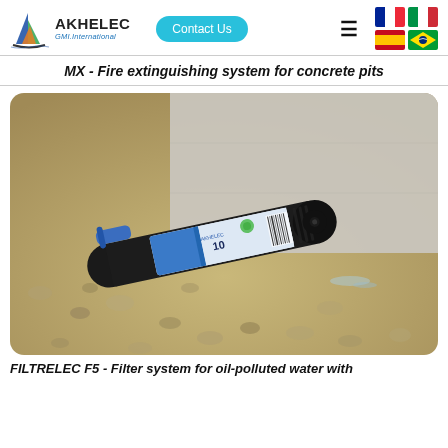AKHELEC GMI.International | Contact Us
MX - Fire extinguishing system for concrete pits
[Figure (photo): A cylindrical black device with a labeled canister/cartridge lying on gravel near a concrete wall. The canister has a blue handle and product label visible. Water appears to be seeping near the base.]
FILTRELEC F5 - Filter system for oil-polluted water with